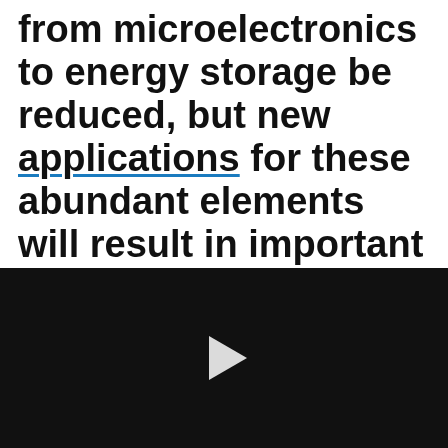from microelectronics to energy storage be reduced, but new applications for these abundant elements will result in important and novel applications”
[Figure (other): Black video player panel with a white play button triangle in the center]